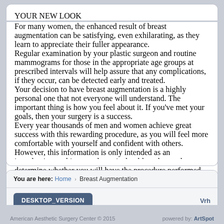YOUR NEW LOOK
For many women, the enhanced result of breast augmentation can be satisfying, even exhilarating, as they learn to appreciate their fuller appearance.
Regular examination by your plastic surgeon and routine mammograms for those in the appropriate age groups at prescribed intervals will help assure that any complications, if they occur, can be detected early and treated.
Your decision to have breast augmentation is a highly personal one that not everyone will understand. The important thing is how you feel about it. If you've met your goals, then your surgery is a success.
Every year thousands of men and women achieve great success with this rewarding procedure, as you will feel more comfortable with yourself and confident with others. However, this information is only intended as an introduction to this procedure - it should not be used to determine whether you will have the procedure performed, nor to guarantee the result. The best method of determining your options would be to contact doctor to answer all your questions, so you can be on your way to looking better and feeling better today!
You are here: Home › Breast Augmentation
DESKTOP_VERSION  Vrh
American Aesthetic Surgery Center © 2015    powered by: ArtSpot